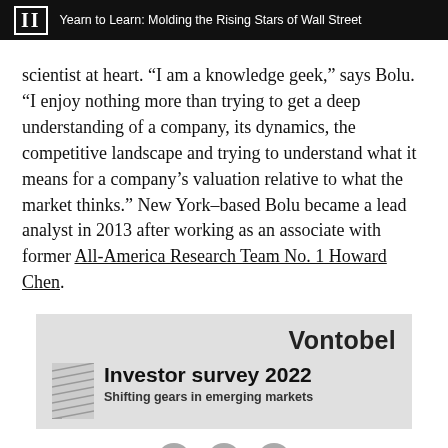II  Yearn to Learn: Molding the Rising Stars of Wall Street
scientist at heart. “I am a knowledge geek,” says Bolu. “I enjoy nothing more than trying to get a deep understanding of a company, its dynamics, the competitive landscape and trying to understand what it means for a company’s valuation relative to what the market thinks.” New York–based Bolu became a lead analyst in 2013 after working as an associate with former All-America Research Team No. 1 Howard Chen.
[Figure (infographic): Vontobel advertisement banner. Shows 'Vontobel' in large bold sans-serif text, a hatched graphic element on the left, 'Investor survey 2022' in large bold text, and 'Shifting gears in emerging markets' as subtitle.]
[Figure (infographic): Social sharing icons: Facebook (f), Twitter (bird), and Plus (+) buttons in gray circles.]